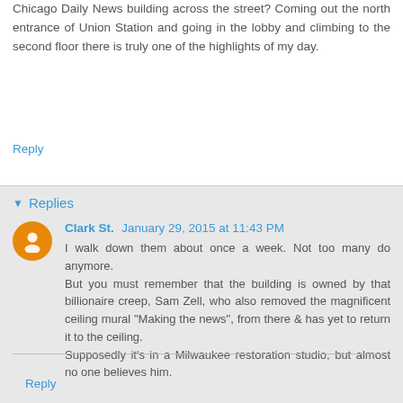Chicago Daily News building across the street? Coming out the north entrance of Union Station and going in the lobby and climbing to the second floor there is truly one of the highlights of my day.
Reply
Replies
Clark St.  January 29, 2015 at 11:43 PM
I walk down them about once a week. Not too many do anymore. But you must remember that the building is owned by that billionaire creep, Sam Zell, who also removed the magnificent ceiling mural "Making the news", from there & has yet to return it to the ceiling. Supposedly it's in a Milwaukee restoration studio, but almost no one believes him.
Reply